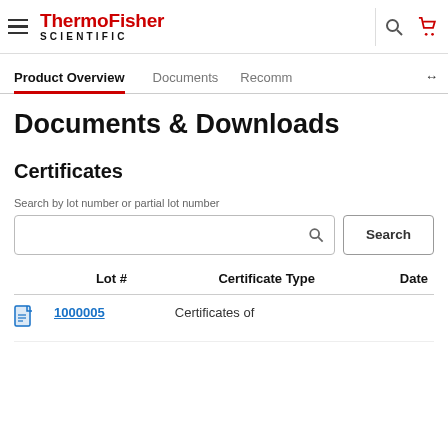ThermoFisher SCIENTIFIC — navigation header with search and cart icons
Product Overview | Documents | Recomm
Documents & Downloads
Certificates
Search by lot number or partial lot number
| Lot # | Certificate Type | Date |
| --- | --- | --- |
| (partial, icon shown) | Certificates of |  |